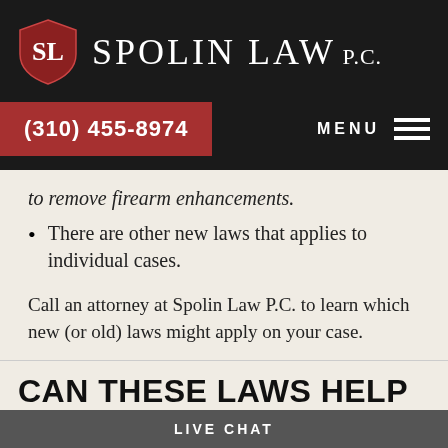Spolin Law P.C. — (310) 455-8974 — MENU
to remove firearm enhancements.
There are other new laws that applies to individual cases.
Call an attorney at Spolin Law P.C. to learn which new (or old) laws might apply on your case.
CAN THESE LAWS HELP YOU?
LIVE CHAT